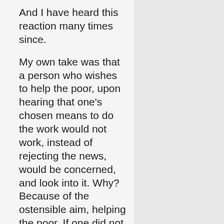And I have heard this reaction many times since.
My own take was that a person who wishes to help the poor, upon hearing that one's chosen means to do the work would not work, instead of rejecting the news, would be concerned, and look into it. Why? Because of the ostensible aim, helping the poor. If one did not look closely at the challenge, then it was obvious that helping the poor was not the real